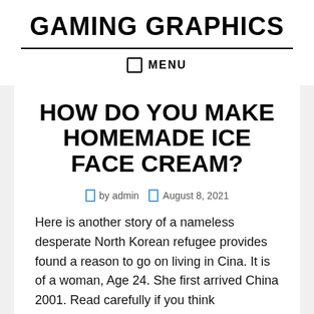GAMING GRAPHICS
HOW DO YOU MAKE HOMEMADE ICE FACE CREAM?
by admin   August 8, 2021
Here is another story of a nameless desperate North Korean refugee provides found a reason to go on living in Cina. It is of a woman, Age 24. She first arrived China 2001. Read carefully if you think